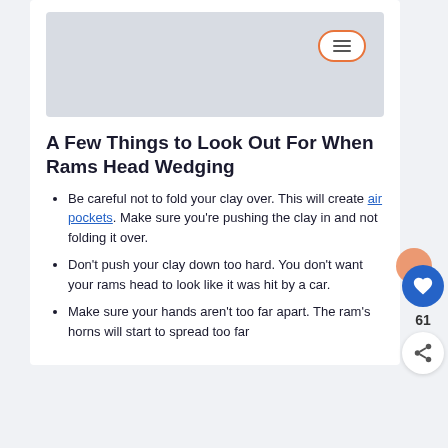[Figure (photo): Gray image placeholder area at top of content card]
A Few Things to Look Out For When Rams Head Wedging
Be careful not to fold your clay over. This will create air pockets. Make sure you're pushing the clay in and not folding it over.
Don't push your clay down too hard. You don't want your rams head to look like it was hit by a car.
Make sure your hands aren't too far apart. The ram's horns will start to spread too far